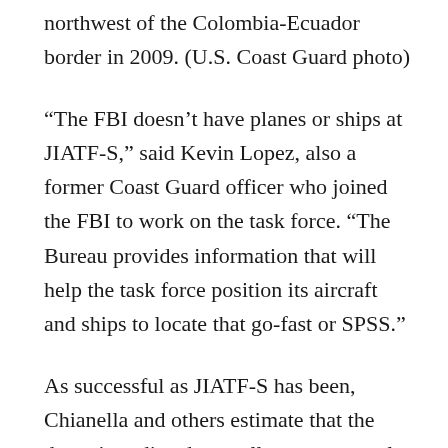northwest of the Colombia-Ecuador border in 2009. (U.S. Coast Guard photo)
“The FBI doesn’t have planes or ships at JIATF-S,” said Kevin Lopez, also a former Coast Guard officer who joined the FBI to work on the task force. “The Bureau provides information that will help the task force position its aircraft and ships to locate that go-fast or SPSS.”
As successful as JIATF-S has been, Chianella and others estimate that the drugs interdicted annually represent only about 20 percent of the total amount being smuggled into the U.S. “As long as there’s a demand for cocaine or any illicit